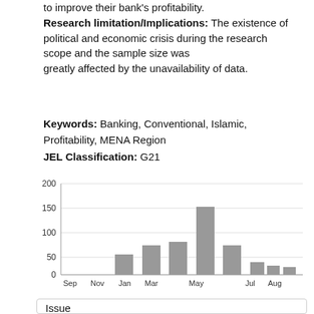to improve their bank's profitability. Research limitation/Implications: The existence of political and economic crisis during the research scope and the sample size was greatly affected by the unavailability of data.
Keywords: Banking, Conventional, Islamic, Profitability, MENA Region
JEL Classification: G21
[Figure (bar-chart): ]
Issue